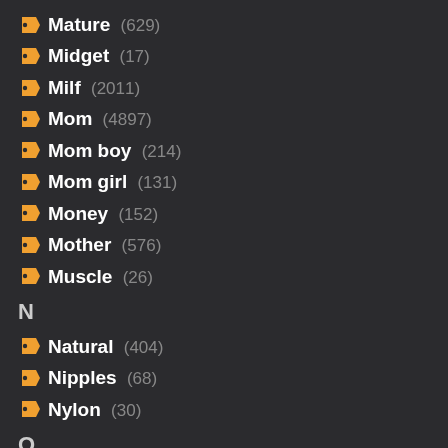Mature (629)
Midget (17)
Milf (2011)
Mom (4897)
Mom boy (214)
Mom girl (131)
Money (152)
Mother (576)
Muscle (26)
N
Natural (404)
Nipples (68)
Nylon (30)
O
Office (217)
Old (1466)
Old man (306)